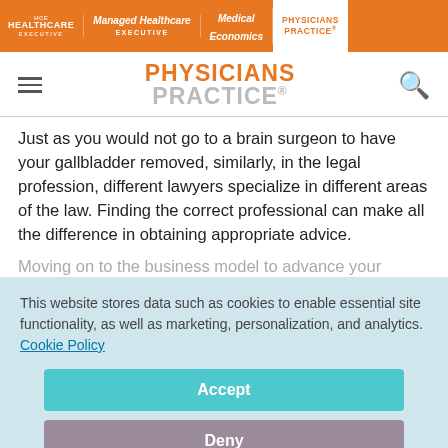HCE Healthcare Executive | Managed Healthcare Executive | Medical Economics | Physicians Practice
[Figure (logo): Physicians Practice logo with hamburger menu and search icon]
Just as you would not go to a brain surgeon to have your gallbladder removed, similarly, in the legal profession, different lawyers specialize in different areas of the law. Finding the correct professional can make all the difference in obtaining appropriate advice.
This website stores data such as cookies to enable essential site functionality, as well as marketing, personalization, and analytics. Cookie Policy
Accept
Deny